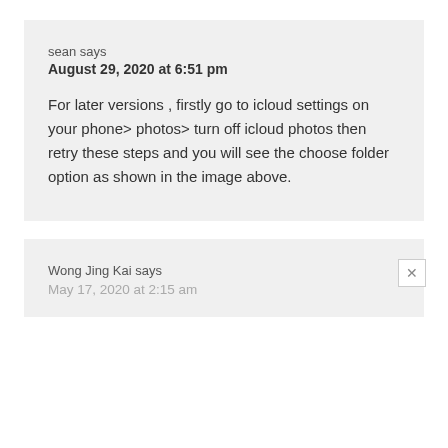sean says
August 29, 2020 at 6:51 pm
For later versions , firstly go to icloud settings on your phone> photos> turn off icloud photos then retry these steps and you will see the choose folder option as shown in the image above.
Wong Jing Kai says
May 17, 2020 at 2:15 am